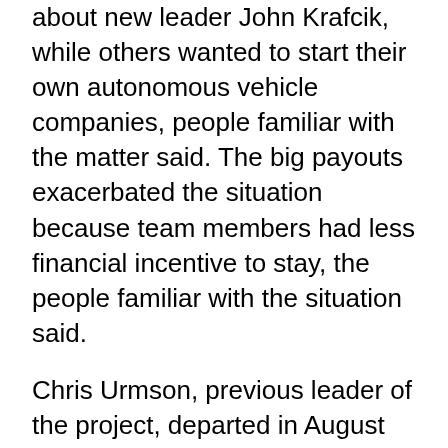about new leader John Krafcik, while others wanted to start their own autonomous vehicle companies, people familiar with the matter said. The big payouts exacerbated the situation because team members had less financial incentive to stay, the people familiar with the situation said.
Chris Urmson, previous leader of the project, departed in August and is working on a startup. Other early project members left to form Otto, a self-driving trucking company that was quickly snapped up by Uber Technologies Inc. Bryan Salesky, a former Google car executive, started Argo AI, which got a $1 billion investment from Ford Motor Co. on Friday.